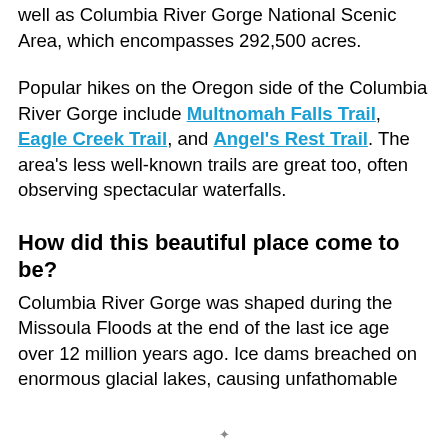well as Columbia River Gorge National Scenic Area, which encompasses 292,500 acres.
Popular hikes on the Oregon side of the Columbia River Gorge include Multnomah Falls Trail, Eagle Creek Trail, and Angel's Rest Trail. The area's less well-known trails are great too, often observing spectacular waterfalls.
How did this beautiful place come to be?
Columbia River Gorge was shaped during the Missoula Floods at the end of the last ice age over 12 million years ago. Ice dams breached on enormous glacial lakes, causing unfathomable